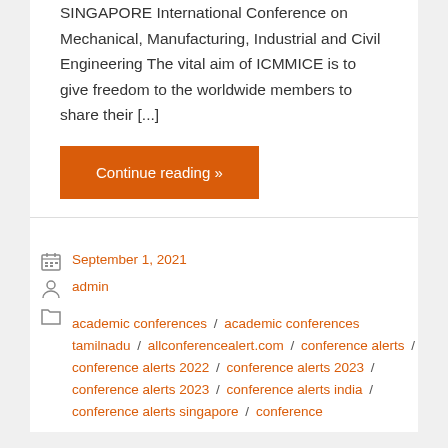SINGAPORE International Conference on Mechanical, Manufacturing, Industrial and Civil Engineering The vital aim of ICMMICE is to give freedom to the worldwide members to share their [...]
Continue reading »
September 1, 2021
admin
academic conferences / academic conferences tamilnadu / allconferencealert.com / conference alerts / conference alerts 2022 / conference alerts 2023 / conference alerts 2023 / conference alerts india / conference alerts singapore / conference